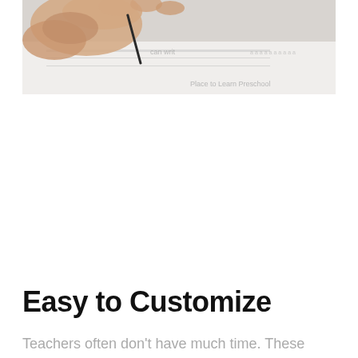[Figure (photo): A child's hand holding a pencil and writing on a worksheet. The worksheet contains lined writing practice. A watermark reads 'Place to Learn Preschool' in the bottom right corner.]
Easy to Customize
Teachers often don't have much time. These